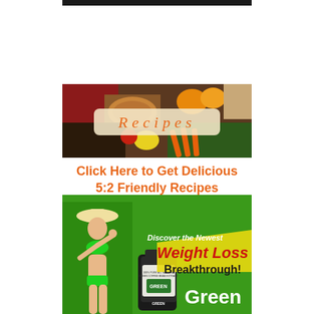[Figure (illustration): Dark banner bar at top]
[Figure (photo): Recipes banner image showing assorted foods including bread, vegetables, fruits, grains with a decorative label reading 'Recipes' in orange script on a beige background]
Click Here to Get Delicious 5:2 Friendly Recipes
[Figure (infographic): Green advertisement banner featuring a woman in green bikini, a bottle of Green Coffee Bean Extract supplement, text reading 'Discover the Newest Weight Loss Breakthrough!' and 'Green' at bottom]